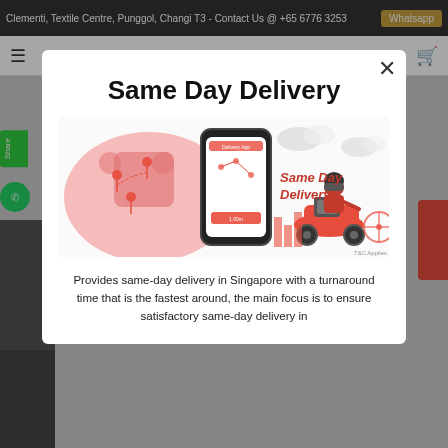Clementi, Textile Centre, Punggol, Changi T3 - Contact Us @ +65 6776 3253  Whatsapp
Same Day Delivery
[Figure (illustration): Same Day Delivery promotional illustration showing a red scooter rider delivering a package with a mobile app interface and Singapore cityscape in the background, with location pins on a map overlay. Text reads 'Same Day Delivery' and 'T&C Applies'.]
Provides same-day delivery in Singapore with a turnaround time that is the fastest around, the main focus is to ensure satisfactory same-day delivery in Singapore.